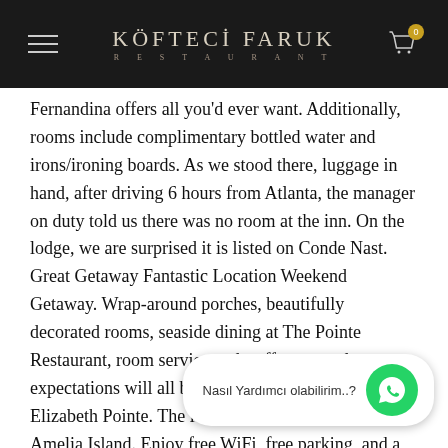KÖFTECİ FARUK RESTAURANT
Fernandina offers all you'd ever want. Additionally, rooms include complimentary bottled water and irons/ironing boards. As we stood there, luggage in hand, after driving 6 hours from Atlanta, the manager on duty told us there was no room at the inn. On the lodge, we are surprised it is listed on Conde Nast. Great Getaway Fantastic Location Weekend Getaway. Wrap-around porches, beautifully decorated rooms, seaside dining at The Pointe Restaurant, room service and staff to exceed your expectations will all be a part of your stay at Elizabeth Pointe. The lodge is very easy to find on Amelia Island. Enjoy free WiFi, free parking, and a restaurant. Elizabeth Pointe offers oceanfront relaxation with refined Southern hospi… Stay at this 3.5-star beach …ch…s very deceitful on all parties, so buyer beware!! We just…